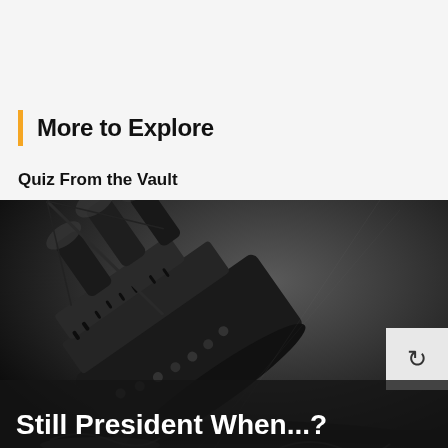More to Explore
Quiz From the Vault
[Figure (photo): Black and white illustration of a large ship (likely the Titanic) sinking at a dramatic angle, with dark dramatic sky and water]
Still President When...?